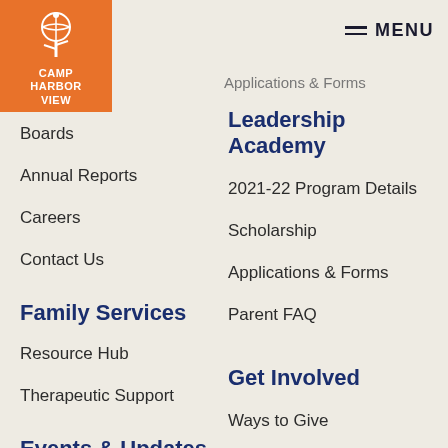[Figure (logo): Camp Harbor View logo — orange square with white basketball/tree icon and text CAMP HARBOR VIEW]
MENU
Applications & Forms
Leadership Academy
2021-22 Program Details
Scholarship
Applications & Forms
Parent FAQ
Boards
Annual Reports
Careers
Contact Us
Family Services
Resource Hub
Therapeutic Support
Events & Updates
Beach Ball
Road Race
Get Involved
Ways to Give
Volunteer
Corporate Partnership